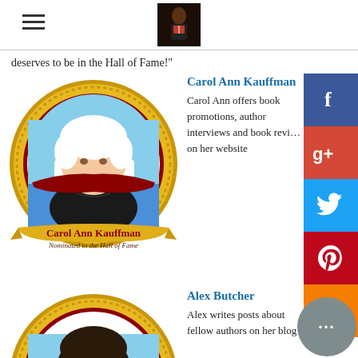Navigation header with hamburger menu and profile logo
deserves to be in the Hall of Fame!"
[Figure (illustration): Carol Ann Kauffman circular gold medallion portrait with banner reading 'Carol Ann Kauffman, Nominated to the Hall of Fame']
Carol Ann Kauffman
Carol Ann offers book promotions, author interviews and book reviews on her website
[Figure (illustration): Alex Butcher circular gold medallion portrait (partially visible)]
Alex Butcher
Alex writes posts about fellow authors on her blog